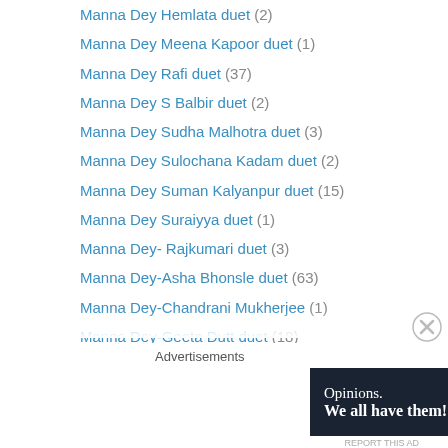Manna Dey Hemlata duet (2)
Manna Dey Meena Kapoor duet (1)
Manna Dey Rafi duet (37)
Manna Dey S Balbir duet (2)
Manna Dey Sudha Malhotra duet (3)
Manna Dey Sulochana Kadam duet (2)
Manna Dey Suman Kalyanpur duet (15)
Manna Dey Suraiyya duet (1)
Manna Dey- Rajkumari duet (3)
Manna Dey-Asha Bhonsle duet (63)
Manna Dey-Chandrani Mukherjee (1)
Manna Dey-Geeta Dutt duet (18)
Manna Dey-Krishna Kalle duet (2)
Manna Dey-Lata duet (76)
Manna Dey-Mukesh duet (1)
Meena Kapoor Mahendra Kapoor duet (1)
Advertisements
[Figure (other): Advertisement banner: Opinions. We all have them! with WordPress and Read Now logos on dark background]